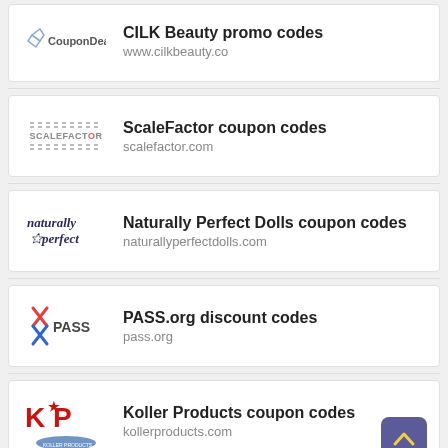CILK Beauty promo codes | www.cilkbeauty.co
ScaleFactor coupon codes | scalefactor.com
Naturally Perfect Dolls coupon codes | naturallyperfectdolls.com
PASS.org discount codes | pass.org
Koller Products coupon codes | kollerproducts.com